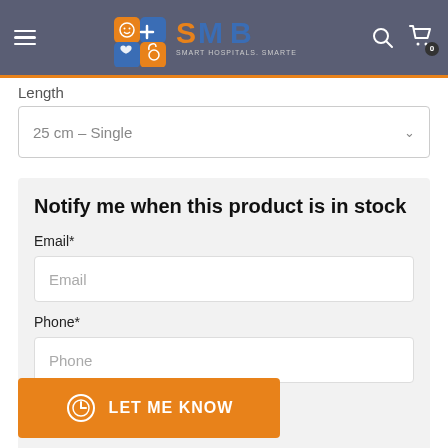[Figure (logo): SMB Smart Hospitals Smarter Solutions logo with colorful cube icon on dark grey header bar with hamburger menu, search icon, and cart icon]
Length
25 cm – Single
Notify me when this product is in stock
Email*
Email
Phone*
Phone
LET ME KNOW